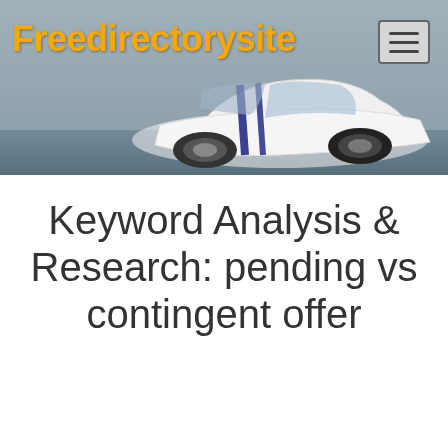Freedirectorysite
[Figure (photo): White sports car with blue racing stripes on a grey background, used as a website header banner]
Keyword Analysis & Research: pending vs contingent offer